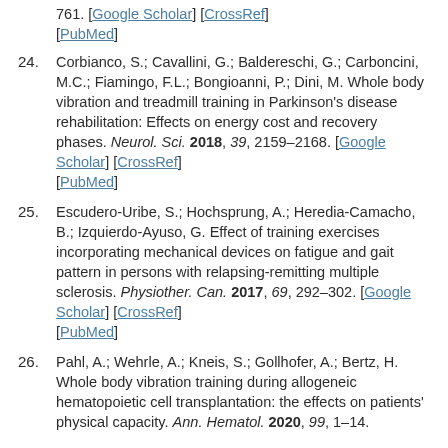(partial top) [Google Scholar] [CrossRef] [PubMed]
24. Corbianco, S.; Cavallini, G.; Baldereschi, G.; Carboncini, M.C.; Fiamingo, F.L.; Bongioanni, P.; Dini, M. Whole body vibration and treadmill training in Parkinson's disease rehabilitation: Effects on energy cost and recovery phases. Neurol. Sci. 2018, 39, 2159–2168. [Google Scholar] [CrossRef] [PubMed]
25. Escudero-Uribe, S.; Hochsprung, A.; Heredia-Camacho, B.; Izquierdo-Ayuso, G. Effect of training exercises incorporating mechanical devices on fatigue and gait pattern in persons with relapsing-remitting multiple sclerosis. Physiother. Can. 2017, 69, 292–302. [Google Scholar] [CrossRef] [PubMed]
26. Pahl, A.; Wehrle, A.; Kneis, S.; Gollhofer, A.; Bertz, H. Whole body vibration training during allogeneic hematopoietic cell transplantation: the effects on patients' physical capacity. Ann. Hematol. 2020, 99, 1–14.